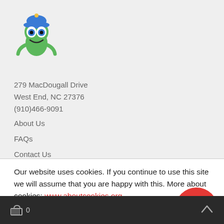[Figure (logo): Green gecko/lizard cartoon character with blue baseball cap and big blue eyes, company mascot logo]
279 MacDougall Drive
West End, NC 27376
(910)466-9091
About Us
FAQs
Contact Us
Our website uses cookies. If you continue to use this site we will assume that you are happy with this. More about cookies: www.aboutcookies.org
0  ^